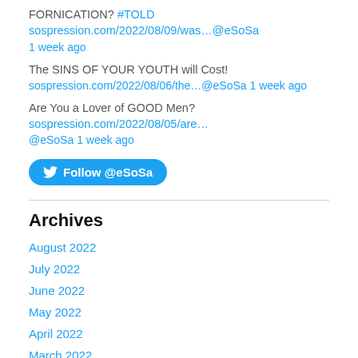FORNICATION? #TOLD sospression.com/2022/08/09/was…@eSoSa
1 week ago
The SINS OF YOUR YOUTH will Cost!
sospression.com/2022/08/06/the…@eSoSa 1 week ago
Are You a Lover of GOOD Men? sospression.com/2022/08/05/are… @eSoSa 1 week ago
Follow @eSoSa
Archives
August 2022
July 2022
June 2022
May 2022
April 2022
March 2022
February 2022